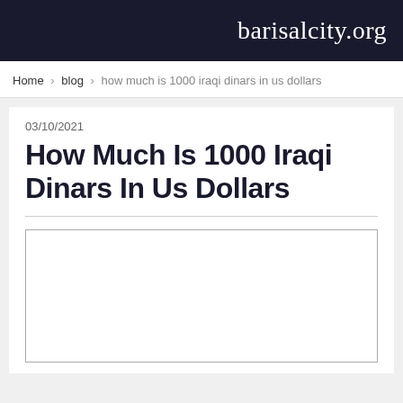barisalcity.org
Home › blog › how much is 1000 iraqi dinars in us dollars
03/10/2021
How Much Is 1000 Iraqi Dinars In Us Dollars
[Figure (other): Empty advertisement or content placeholder box with light gray border]